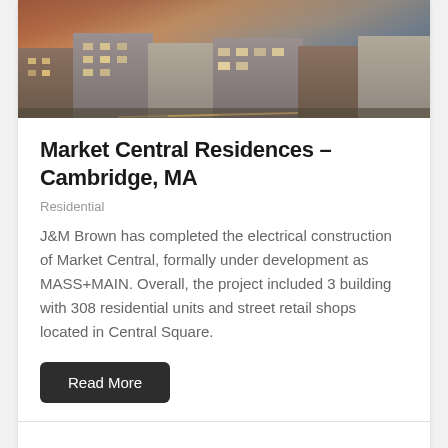[Figure (photo): Aerial/street-level rendering of Market Central Residences in Cambridge, MA at dusk showing multiple modern residential and mixed-use buildings with warm lighting]
Market Central Residences – Cambridge, MA
Residential
J&M Brown has completed the electrical construction of Market Central, formally under development as MASS+MAIN. Overall, the project included 3 building with 308 residential units and street retail shops located in Central Square.
Read More